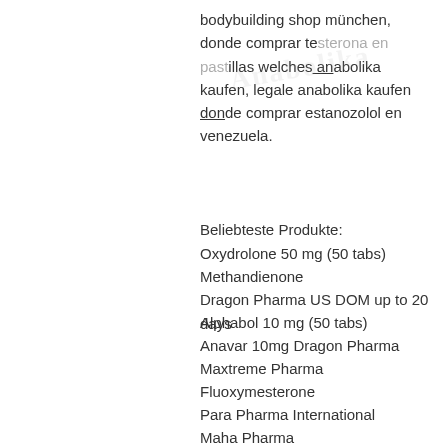bodybuilding shop münchen, donde comprar testosterona en pastillas welches anabolika kaufen, legale anabolika kaufen donde comprar estanozolol en venezuela.
Beliebteste Produkte:
Oxydrolone 50 mg (50 tabs)
Methandienone
Dragon Pharma US DOM up to 20 days
Alphabol 10 mg (50 tabs)
Anavar 10mg Dragon Pharma
Maxtreme Pharma
Fluoxymesterone
Para Pharma International
Maha Pharma
Tren Acetate 100mg per 1ml
Deca durabolin 250mg/ml x 10ml
Para Pharma US Domestic
Accutane Dragon Pharma
Nolvadex 20mg x 30 tablets
Winstrol 100mg/ml x 10ml